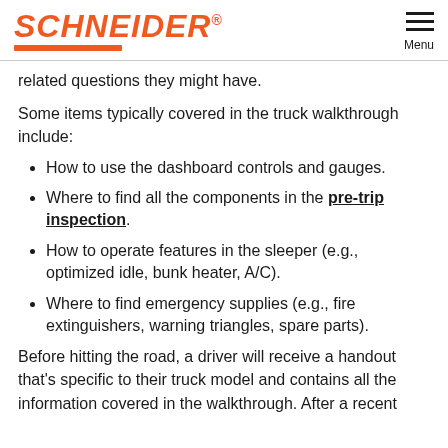SCHNEIDER Menu
related questions they might have.
Some items typically covered in the truck walkthrough include:
How to use the dashboard controls and gauges.
Where to find all the components in the pre-trip inspection.
How to operate features in the sleeper (e.g., optimized idle, bunk heater, A/C).
Where to find emergency supplies (e.g., fire extinguishers, warning triangles, spare parts).
Before hitting the road, a driver will receive a handout that's specific to their truck model and contains all the information covered in the walkthrough. After a recent update, models to since include a QR code that did